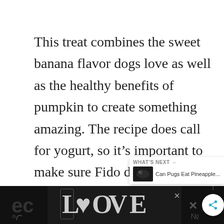This treat combines the sweet banana flavor dogs love as well as the healthy benefits of pumpkin to create something amazing. The recipe does call for yogurt, so it's important to make sure Fido doesn't have allergies or is lactose intolerant. You can follow the complete recipe Frozen Pumpkin Dog Treats Recipe.
[Figure (other): Bottom advertisement banner with LOOVE logo art, close button, and partial overlapping graphic element on dark background]